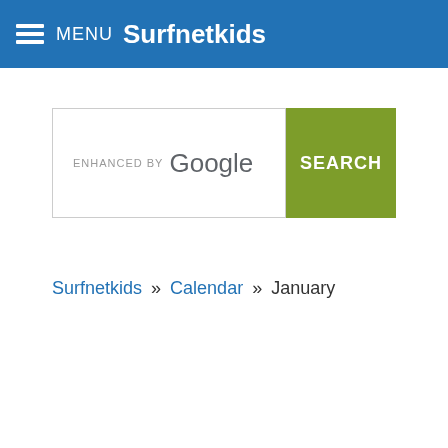MENU Surfnetkids
[Figure (screenshot): Search box with 'enhanced by Google' text and a green SEARCH button]
Surfnetkids » Calendar » January